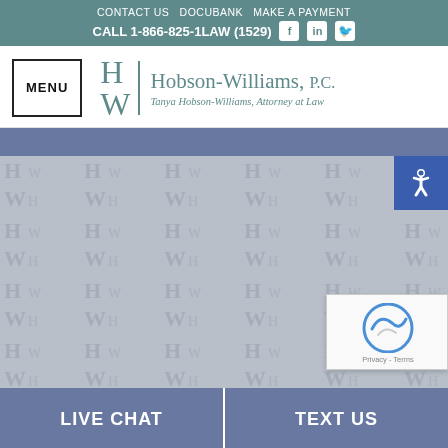CONTACT US  DOCUBANK  MAKE A PAYMENT
CALL 1-866-825-1LAW (1529)
[Figure (logo): Hobson-Williams P.C. law firm logo with HW monogram and tagline 'Tanya Hobson-Williams, Attorney at Law']
[Figure (screenshot): Website screenshot showing Hobson-Williams law firm webpage with watermarked background, accessibility icon, and reCAPTCHA widget]
LIVE CHAT
TEXT US